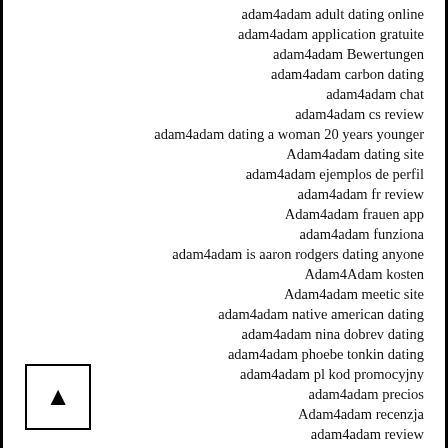adam4adam adult dating online
adam4adam application gratuite
adam4adam Bewertungen
adam4adam carbon dating
adam4adam chat
adam4adam cs review
adam4adam dating a woman 20 years younger
Adam4adam dating site
adam4adam ejemplos de perfil
adam4adam fr review
Adam4adam frauen app
adam4adam funziona
adam4adam is aaron rodgers dating anyone
Adam4Adam kosten
Adam4adam meetic site
adam4adam native american dating
adam4adam nina dobrev dating
adam4adam phoebe tonkin dating
adam4adam pl kod promocyjny
adam4adam precios
Adam4adam recenzja
adam4adam review
Adam4Adam reviews
adam4adam Supprimer le compte
Adam4adam unf?hige
adam4adam visitors
adam4adam website